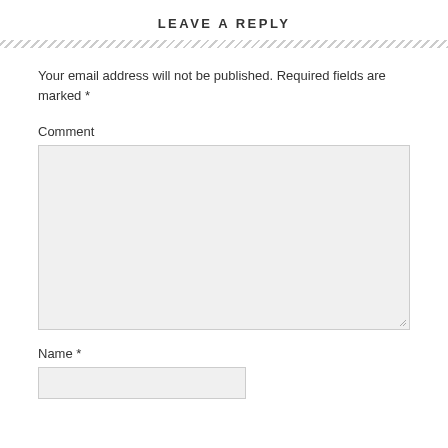LEAVE A REPLY
Your email address will not be published. Required fields are marked *
Comment
[Figure (other): Large comment text area input box with resize handle]
Name *
[Figure (other): Name text input field]